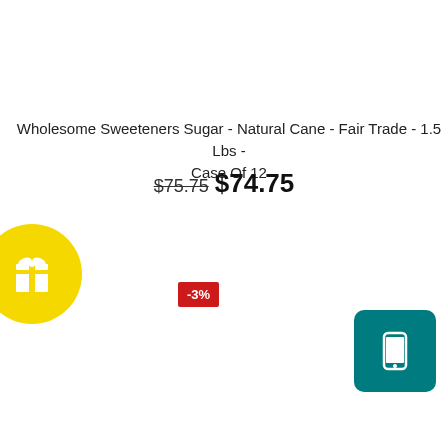Wholesome Sweeteners Sugar - Natural Cane - Fair Trade - 1.5 Lbs - Case Of 12
$75.75 $74.75
[Figure (illustration): Yellow circular badge with a white gift box icon]
[Figure (illustration): Red rectangular badge with white text showing -3%]
[Figure (illustration): Teal rounded square badge with a white smartphone icon]